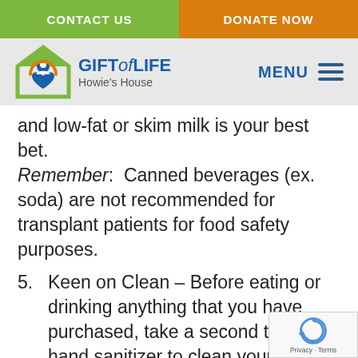CONTACT US   DONATE NOW
[Figure (logo): Gift of Life Howie's House logo with green house and blue person/heart icon]
and low-fat or skim milk is your best bet. Remember: Canned beverages (ex. soda) are not recommended for transplant patients for food safety purposes.
5. Keen on Clean – Before eating or drinking anything that you have purchased, take a second to use hand sanitizer to clean your hands, wipe your utensils with a napkin, and wash your fruit. That apple may have been washed in the kitchen, but who knows how many people picked it up